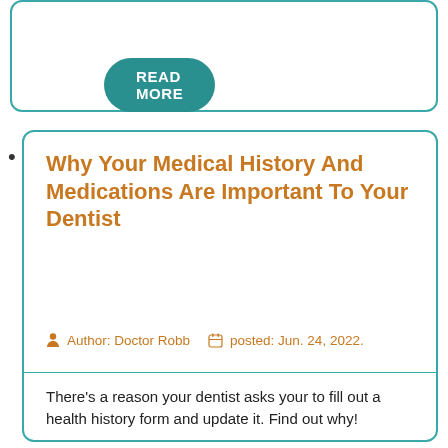READ MORE
Why Your Medical History And Medications Are Important To Your Dentist
Author: Doctor Robb   posted: Jun. 24, 2022.
There's a reason your dentist asks your to fill out a health history form and update it. Find out why!
READ MORE